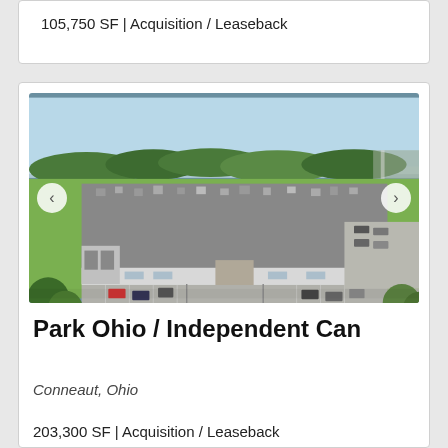105,750 SF | Acquisition / Leaseback
[Figure (photo): Aerial drone photo of a large industrial warehouse facility in Conneaut, Ohio. The building has a flat dark roof with HVAC units, white/grey exterior walls, loading docks on the left side, a large parking lot with vehicles, green trees surrounding the property, and roads/driveways.]
Park Ohio / Independent Can
Conneaut, Ohio
203,300 SF | Acquisition / Leaseback